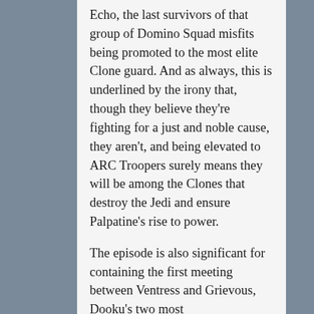Echo, the last survivors of that group of Domino Squad misfits being promoted to the most elite Clone guard. And as always, this is underlined by the irony that, though they believe they're fighting for a just and noble cause, they aren't, and being elevated to ARC Troopers surely means they will be among the Clones that destroy the Jedi and ensure Palpatine's rise to power.
The episode is also significant for containing the first meeting between Ventress and Grievous, Dooku's two most